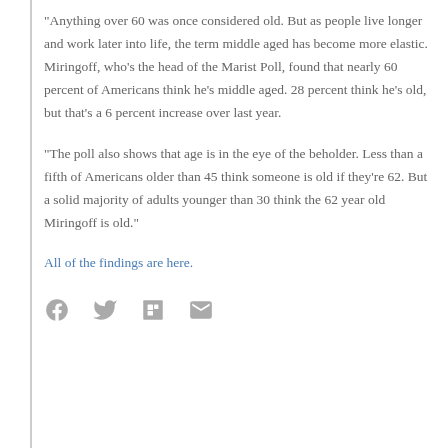"Anything over 60 was once considered old. But as people live longer and work later into life, the term middle aged has become more elastic. Miringoff, who's the head of the Marist Poll, found that nearly 60 percent of Americans think he's middle aged. 28 percent think he's old, but that's a 6 percent increase over last year.
"The poll also shows that age is in the eye of the beholder. Less than a fifth of Americans older than 45 think someone is old if they're 62. But a solid majority of adults younger than 30 think the 62 year old Miringoff is old."
All of the findings are here.
[Figure (other): Social sharing icons: Facebook, Twitter, Flipboard, Email]